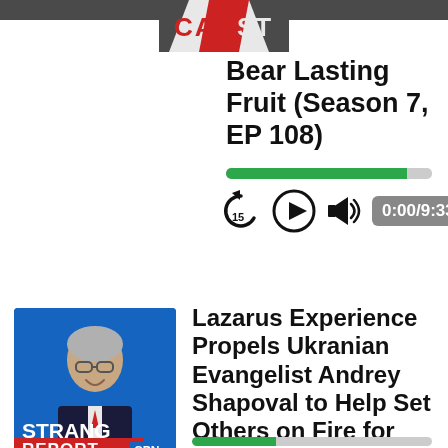[Figure (screenshot): Partial logo graphic at top center (CAST or similar podcast network logo with red and white design)]
Bear Lasting Fruit (Season 7, EP 108)
[Figure (other): Audio player with progress bar (green, nearly full), rewind 15s button, play button, volume icon, and time display showing 0:00/9:33]
[Figure (photo): Strang Report podcast thumbnail showing a man in suit and glasses, with STRANG REPORT WITH STEPHEN STRANG CPN text overlay on blue background]
Lazarus Experience Propels Ukranian Evangelist Andrey Shapoval to Help Set Others on Fire for Jesus
[Figure (other): Partial audio player controls visible at bottom of page]